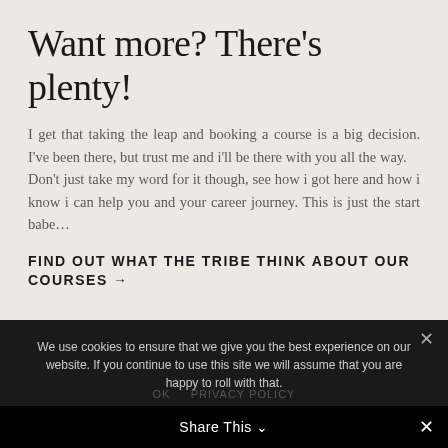Want more? There's plenty!
I get that taking the leap and booking a course is a big decision. I've been there, but trust me and i'll be there with you all the way.
Don't just take my word for it though, see how i got here and how i know i can help you and your career journey. This is just the start babe…
FIND OUT WHAT THE TRIBE THINK ABOUT OUR COURSES →
We use cookies to ensure that we give you the best experience on our website. If you continue to use this site we will assume that you are happy to roll with that.
Share This ∨